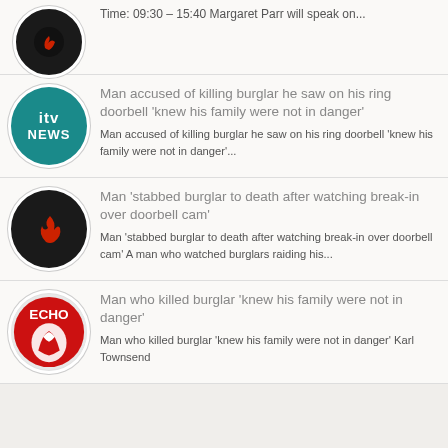Time: 09:30 – 15:40 Margaret Parr will speak on...
Man accused of killing burglar he saw on his ring doorbell 'knew his family were not in danger' — Man accused of killing burglar he saw on his ring doorbell 'knew his family were not in danger'...
Man 'stabbed burglar to death after watching break-in over doorbell cam' — Man 'stabbed burglar to death after watching break-in over doorbell cam' A man who watched burglars raiding his...
Man who killed burglar 'knew his family were not in danger' — Man who killed burglar 'knew his family were not in danger' Karl Townsend